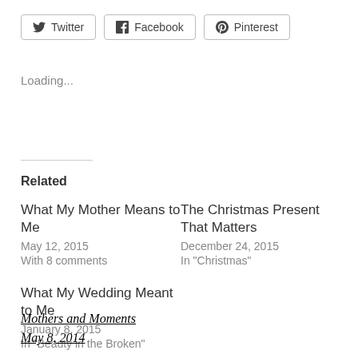Twitter  Facebook  Pinterest
Loading...
Related
What My Mother Means to Me
May 12, 2015
With 8 comments
The Christmas Present That Matters
December 24, 2015
In "Christmas"
What My Wedding Meant to Me
January 8, 2015
In "Beauty in the Broken"
Mothers and Moments
May 8, 2014